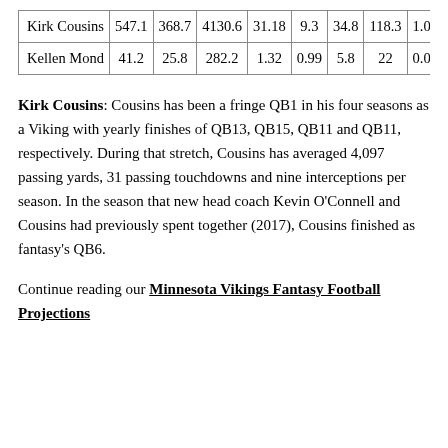|  | col1 | col2 | col3 | col4 | col5 | col6 | col7 | col8 | col9 |
| --- | --- | --- | --- | --- | --- | --- | --- | --- | --- |
| Kirk Cousins | 547.1 | 368.7 | 4130.6 | 31.18 | 9.3 | 34.8 | 118.3 | 1.04 | 289.4 |
| Kellen Mond | 41.2 | 25.8 | 282.2 | 1.32 | 0.99 | 5.8 | 22 | 0.09 | 17.33 |
Kirk Cousins: Cousins has been a fringe QB1 in his four seasons as a Viking with yearly finishes of QB13, QB15, QB11 and QB11, respectively. During that stretch, Cousins has averaged 4,097 passing yards, 31 passing touchdowns and nine interceptions per season. In the season that new head coach Kevin O'Connell and Cousins had previously spent together (2017), Cousins finished as fantasy's QB6.
Continue reading our Minnesota Vikings Fantasy Football Projections